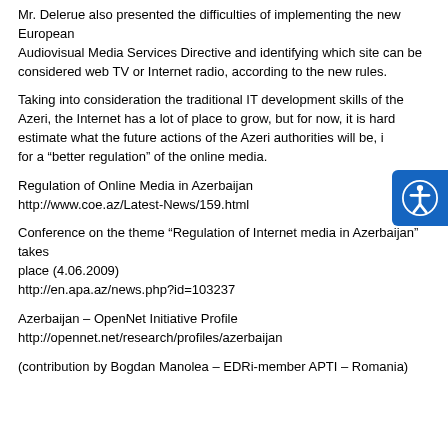Mr. Delerue also presented the difficulties of implementing the new European Audiovisual Media Services Directive and identifying which site can be considered web TV or Internet radio, according to the new rules.
Taking into consideration the traditional IT development skills of the Azeri, the Internet has a lot of place to grow, but for now, it is hard to estimate what the future actions of the Azeri authorities will be, in terms for a “better regulation” of the online media.
Regulation of Online Media in Azerbaijan
http://www.coe.az/Latest-News/159.html
Conference on the theme “Regulation of Internet media in Azerbaijan” takes
place (4.06.2009)
http://en.apa.az/news.php?id=103237
Azerbaijan – OpenNet Initiative Profile
http://opennet.net/research/profiles/azerbaijan
(contribution by Bogdan Manolea – EDRi-member APTI – Romania)